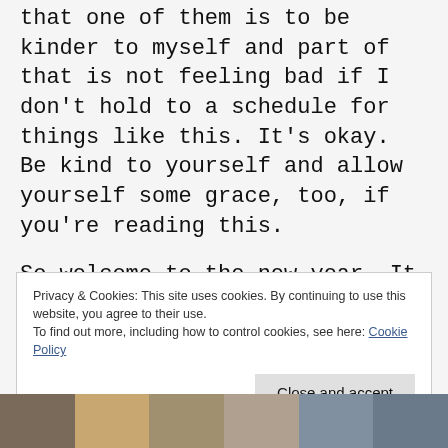that one of them is to be kinder to myself and part of that is not feeling bad if I don't hold to a schedule for things like this. It's okay. Be kind to yourself and allow yourself some grace, too, if you're reading this.
So welcome to the new year. It already feels better than last year. Do you have any resolutions? Have you picked up an old project again, or are you starting something new?
Privacy & Cookies: This site uses cookies. By continuing to use this website, you agree to their use.
To find out more, including how to control cookies, see here: Cookie Policy
[Figure (photo): A strip of photos showing people and decorative patterns at the bottom of the page]